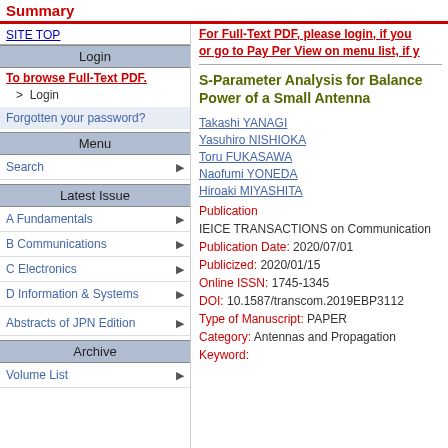Summary
SITE TOP
Login
To browse Full-Text PDF.
> Login
Forgotten your password?
Menu
Search
Latest Issue
A Fundamentals
B Communications
C Electronics
D Information & Systems
Abstracts of JPN Edition
Archive
Volume List
For Full-Text PDF, please login, if you or go to Pay Per View on menu list, if y
S-Parameter Analysis for Balance Power of a Small Antenna
Takashi YANAGI
Yasuhiro NISHIOKA
Toru FUKASAWA
Naofumi YONEDA
Hiroaki MIYASHITA
Publication
IEICE TRANSACTIONS on Communication
Publication Date: 2020/07/01
Publicized: 2020/01/15
Online ISSN: 1745-1345
DOI: 10.1587/transcom.2019EBP3112
Type of Manuscript: PAPER
Category: Antennas and Propagation
Keyword: